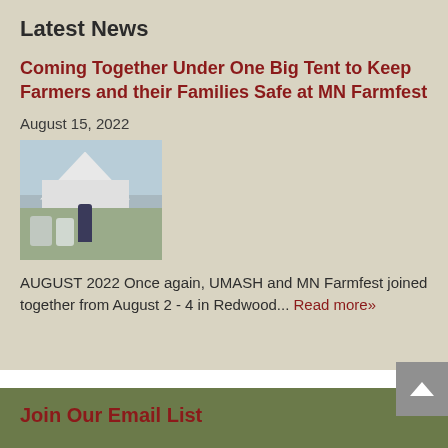Latest News
Coming Together Under One Big Tent to Keep Farmers and their Families Safe at MN Farmfest
August 15, 2022
[Figure (photo): A person standing near white barrels under a white tent at MN Farmfest outdoor event]
AUGUST 2022 Once again, UMASH and MN Farmfest joined together from August 2 - 4 in Redwood... Read more»
Join Our Email List